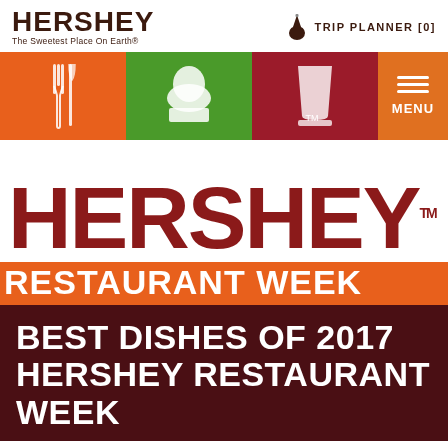[Figure (logo): Hershey logo with text 'HERSHEY' and tagline 'The Sweetest Place On Earth®' on the left, and a Hershey Kiss icon with 'TRIP PLANNER [0]' text on the right]
[Figure (screenshot): Navigation banner with three colored panels: orange with fork/knife icon, green with chef hat icon, dark red with cup icon, and orange MENU button with hamburger lines]
[Figure (logo): Large 'HERSHEY' text in dark red/maroon with TM superscript, followed by 'RESTAURANT WEEK' in white on orange background]
BEST DISHES OF 2017 HERSHEY RESTAURANT WEEK